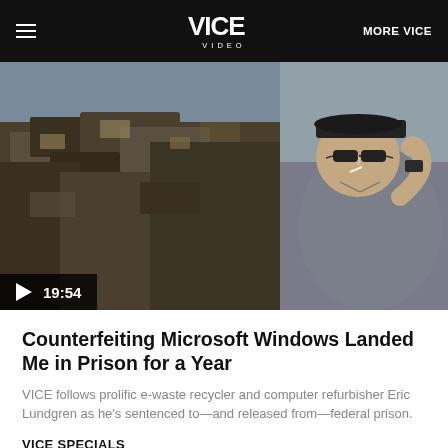VICE VIDEO  MORE VICE
[Figure (photo): Man wearing sunglasses and a flat-brim cap, smoking a cigarette, standing in front of a large pile of e-waste/scrap metal debris. Video thumbnail with 19:54 runtime displayed.]
Counterfeiting Microsoft Windows Landed Me in Prison for a Year
VICE follows prolific e-waste recycler and computer refurbisher Eric Lundgren as he's sentenced to—and released from—federal prison.
VICE SPECIALS